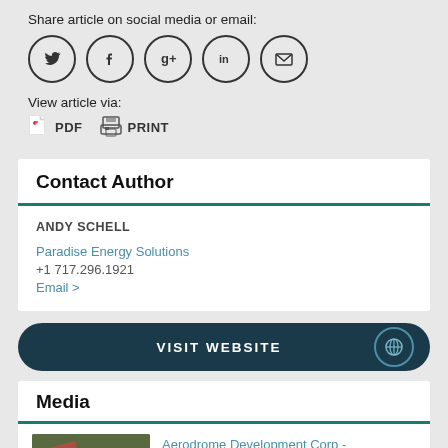Share article on social media or email:
[Figure (infographic): Row of five social media icon buttons (Twitter, Facebook, Google+, LinkedIn, Email) as circular outlined icons]
View article via:
[Figure (infographic): PDF icon with label PDF, and printer icon with label PRINT]
Contact Author
ANDY SCHELL
Paradise Energy Solutions
+1 717.296.1921
Email >
[Figure (infographic): Dark teal rounded button with VISIT WEBSITE text and globe icon]
Media
[Figure (photo): Aerial photo of what appears to be a development site]
Aerodrome Development Corp - Middletown, NY